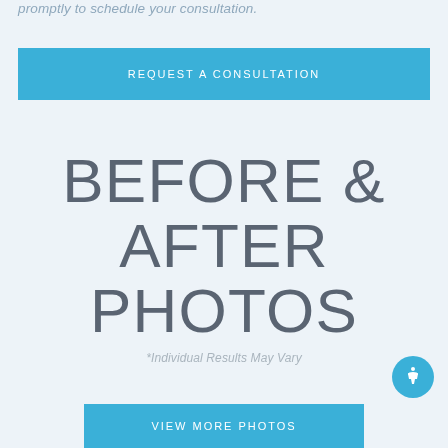promptly to schedule your consultation.
REQUEST A CONSULTATION
BEFORE & AFTER PHOTOS
*Individual Results May Vary
VIEW MORE PHOTOS